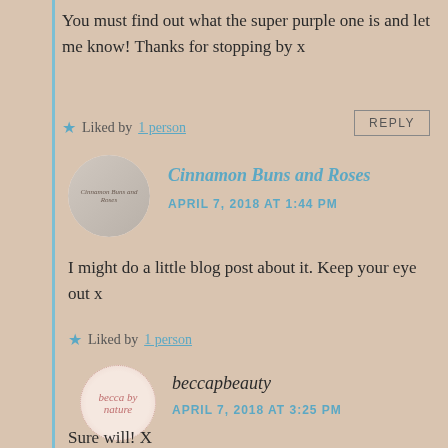You must find out what the super purple one is and let me know! Thanks for stopping by x
Liked by 1 person
REPLY
Cinnamon Buns and Roses
APRIL 7, 2018 AT 1:44 PM
I might do a little blog post about it. Keep your eye out x
Liked by 1 person
beccapbeauty
APRIL 7, 2018 AT 3:25 PM
Sure will! X